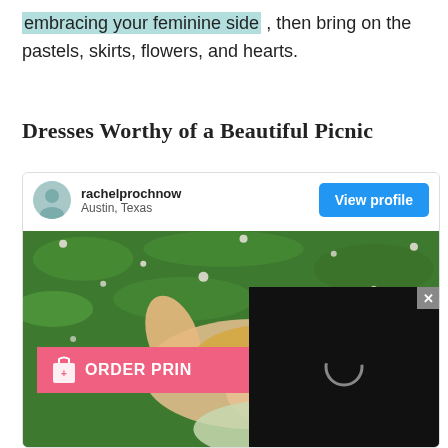embracing your feminine side , then bring on the pastels, skirts, flowers, and hearts.
Dresses Worthy of a Beautiful Picnic
[Figure (screenshot): Social media profile card for rachelprochnow from Austin, Texas with a View profile button. Below is a photo of a woman lying in green grass with flowers, a pink ORDER PRINT button overlay, and a black loading panel overlay.]